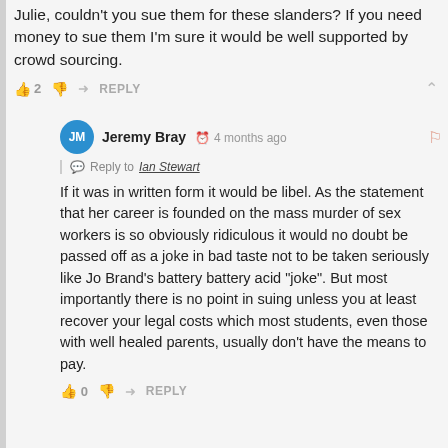Julie, couldn't you sue them for these slanders? If you need money to sue them I'm sure it would be well supported by crowd sourcing.
Jeremy Bray · 4 months ago · Reply to Ian Stewart · If it was in written form it would be libel. As the statement that her career is founded on the mass murder of sex workers is so obviously ridiculous it would no doubt be passed off as a joke in bad taste not to be taken seriously like Jo Brand's battery battery acid "joke". But most importantly there is no point in suing unless you at least recover your legal costs which most students, even those with well healed parents, usually don't have the means to pay.